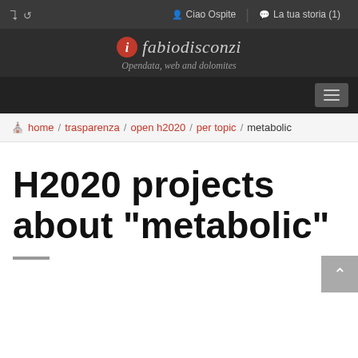share  Ciao Ospite  La tua storia (1)
[Figure (logo): fabiodisconzi logo with red circle icon and italic text, tagline: Opendata, web and dolomites]
Navigation toggle button
home / trasparenza / open h2020 / per topic / metabolic
H2020 projects about "metabolic"